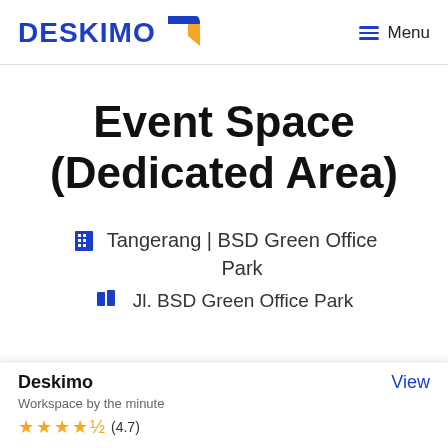DESKIMO  Menu
Event Space (Dedicated Area)
Tangerang | BSD Green Office Park
Jl. BSD Green Office Park
Deskimo
Workspace by the minute
★★★★½ (4.7)
View